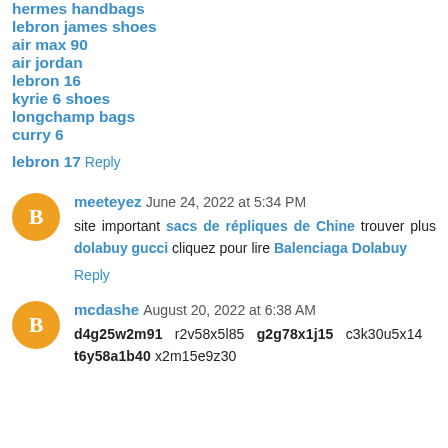hermes handbags
lebron james shoes
air max 90
air jordan
lebron 16
kyrie 6 shoes
longchamp bags
curry 6
lebron 17
Reply
meeteyez June 24, 2022 at 5:34 PM
site important sacs de répliques de Chine trouver plus dolabuy gucci cliquez pour lire Balenciaga Dolabuy
Reply
mcdashe August 20, 2022 at 6:38 AM
d4g25w2m91 r2v58x5l85 g2g78x1j15 c3k30u5x14 t6y58a1b40 x2m15e9z30